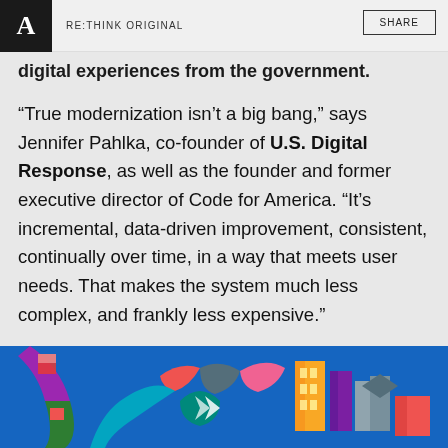RE:THINK ORIGINAL   SHARE
digital experiences from the government.
“True modernization isn’t a big bang,” says Jennifer Pahlka, co-founder of U.S. Digital Response, as well as the founder and former executive director of Code for America. “It’s incremental, data-driven improvement, consistent, continually over time, in a way that meets user needs. That makes the system much less complex, and frankly less expensive.”
[Figure (illustration): Colorful geometric illustration with isometric building shapes in blue, green, purple, orange, red, and gray on a bright blue background.]